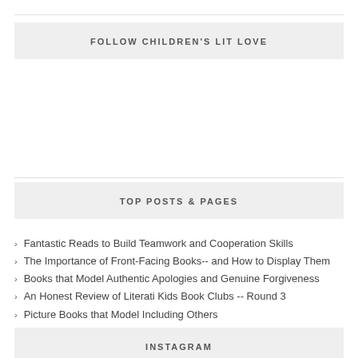FOLLOW CHILDREN'S LIT LOVE
TOP POSTS & PAGES
Fantastic Reads to Build Teamwork and Cooperation Skills
The Importance of Front-Facing Books-- and How to Display Them
Books that Model Authentic Apologies and Genuine Forgiveness
An Honest Review of Literati Kids Book Clubs -- Round 3
Picture Books that Model Including Others
INSTAGRAM